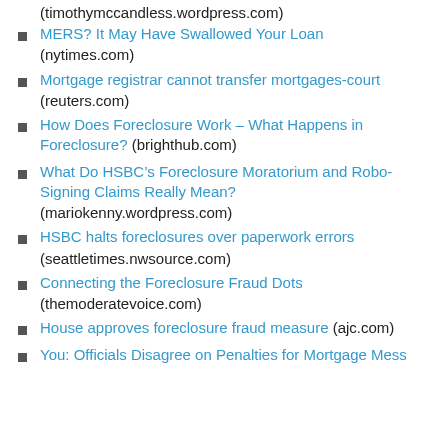(timothymccandless.wordpress.com)
MERS? It May Have Swallowed Your Loan (nytimes.com)
Mortgage registrar cannot transfer mortgages-court (reuters.com)
How Does Foreclosure Work – What Happens in Foreclosure? (brighthub.com)
What Do HSBC’s Foreclosure Moratorium and Robo-Signing Claims Really Mean? (mariokenny.wordpress.com)
HSBC halts foreclosures over paperwork errors (seattletimes.nwsource.com)
Connecting the Foreclosure Fraud Dots (themoderatevoice.com)
House approves foreclosure fraud measure (ajc.com)
You: Officials Disagree on Penalties for Mortgage Mess